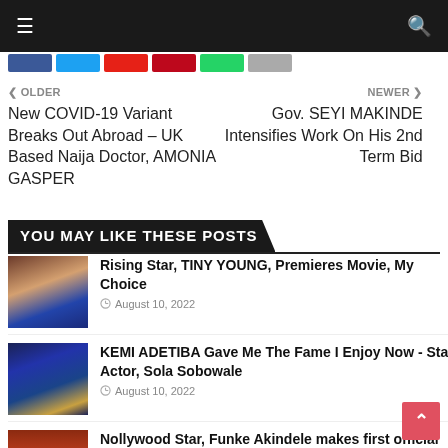Navigation bar with hamburger menu and search icon
[Figure (other): Social media sharing buttons: Facebook, Twitter, YouTube, Pinterest, WhatsApp, and another platform]
< OLDER
New COVID-19 Variant Breaks Out Abroad – UK Based Naija Doctor, AMONIA GASPER
NEWER >
Gov. SEYI MAKINDE Intensifies Work On His 2nd Term Bid
YOU MAY LIKE THESE POSTS
[Figure (photo): Thumbnail photo of a young woman in a blue off-shoulder outfit]
Rising Star, TINY YOUNG, Premieres Movie, My Choice
August 10, 2022
[Figure (photo): Thumbnail photo of a woman wearing a blue gele (headwrap) and blue outfit with gold jewelry]
KEMI ADETIBA Gave Me The Fame I Enjoy Now - Star Actor, Sola Sobowale
August 10, 2022
[Figure (photo): Thumbnail photo of a building interior with a round ceiling fixture]
Nollywood Star, Funke Akindele makes first official statement After Breakup With